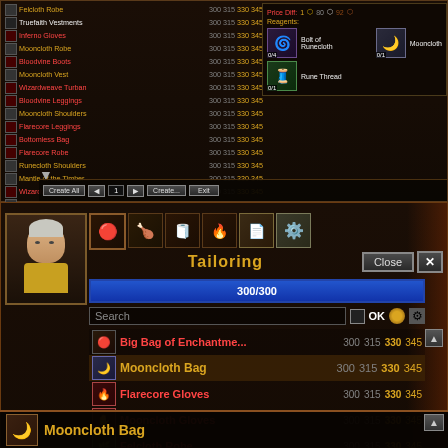[Figure (screenshot): World of Warcraft Tailoring profession UI screenshot showing two overlapping windows. Top window shows a crafting list with items like Truefaith Vestments, Inferno Gloves, Mooncloth Robe, Bloodvine Boots, etc., each with skill numbers 300 315 330 345. A reagents panel shows Bolt of Runecloth, Mooncloth, and Rune Thread with quantity indicators. Bottom buttons include Create All, page navigation, Create, and Exit. Bottom window shows the main Tailoring interface with a character portrait, tab icons, skill bar at 300/300, search box, and a crafting list with items: Big Bag of Enchantme..., Mooncloth Bag (selected), Flarecore Gloves, Mooncloth Gloves, Felcloth Robe, Truefaith Vestments, Inferno Gloves, Mooncloth Robe, Bloodvine Boots. At the bottom is an item info bar showing Mooncloth Bag.]